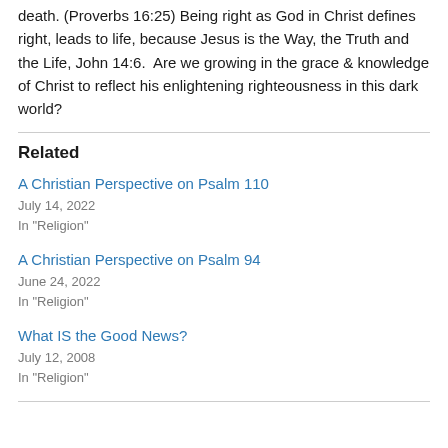death. (Proverbs 16:25) Being right as God in Christ defines right, leads to life, because Jesus is the Way, the Truth and the Life, John 14:6.  Are we growing in the grace & knowledge of Christ to reflect his enlightening righteousness in this dark world?
Related
A Christian Perspective on Psalm 110
July 14, 2022
In "Religion"
A Christian Perspective on Psalm 94
June 24, 2022
In "Religion"
What IS the Good News?
July 12, 2008
In "Religion"